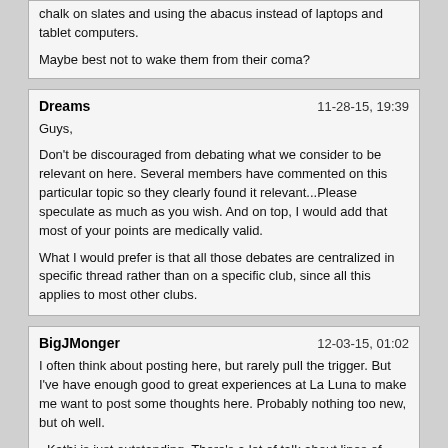chalk on slates and using the abacus instead of laptops and tablet computers.

Maybe best not to wake them from their coma?
Dreams
11-28-15, 19:39
Guys,

Don't be discouraged from debating what we consider to be relevant on here. Several members have commented on this particular topic so they clearly found it relevant...Please speculate as much as you wish. And on top, I would add that most of your points are medically valid.

What I would prefer is that all those debates are centralized in specific thread rather than on a specific club, since all this applies to most other clubs.
BigJMonger
12-03-15, 01:02
I often think about posting here, but rarely pull the trigger. But I've have enough good to great experiences at La Luna to make me want to post some thoughts here. Probably nothing too new, but oh well.

- Kathi is just outstanding. There's a lot of talk about lines of people waiting for her. I simply sit down on her couch when I arrive if she's not there and when she's free, she joins me. Absolute GFE with immediate DFK and cooing on the couch while we each smoke and relax. Then eventually she'll play with my cock which will usually eventually lead to her motioning to the rooms and me obliging her request. Inside it's blissful GFE with a girl who can't speak a lick of English. Her Romanian coos and grumbles are so damn adorable when she knows I can't understand a lick of it. Tender is the word I'd use to describe our sessions. Eager and slow BBBJ with some drooling and self inflicted choking (maybe I help a little in the most tender way you'd imagine). Sometimes I'll dirty till she's convulsing in what I'm fairly certain is a true orgasm. Every session she'll eventually ride me slow and steady until I unload inside her. Sometimes I don't let her off until I've done it once or twice more. And she always happily obliges (periodically rubbing her legs or knees). Truly one of the best GFE